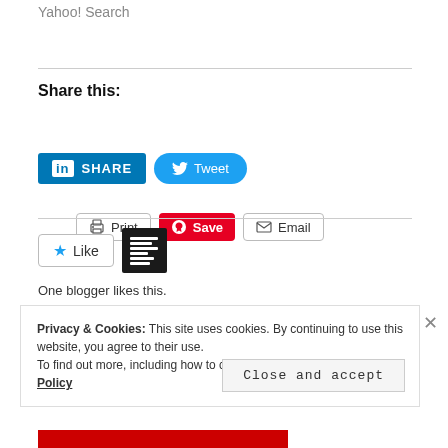Yahoo! Search
Share this:
[Figure (screenshot): Social sharing buttons: Print, Save (Pinterest), Email, LinkedIn Share, Tweet]
[Figure (screenshot): Like button with star icon and a blogger avatar thumbnail]
One blogger likes this.
Privacy & Cookies: This site uses cookies. By continuing to use this website, you agree to their use. To find out more, including how to control cookies, see here: Cookie Policy
Close and accept